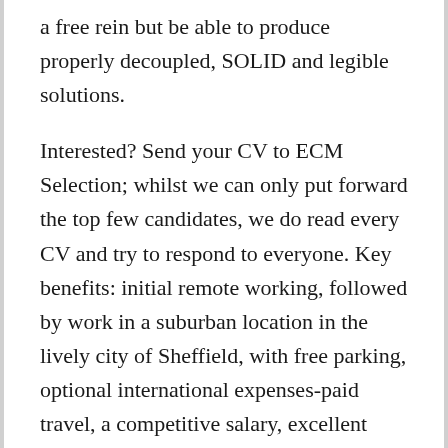a free rein but be able to produce properly decoupled, SOLID and legible solutions.
Interested? Send your CV to ECM Selection; whilst we can only put forward the top few candidates, we do read every CV and try to respond to everyone. Key benefits: initial remote working, followed by work in a suburban location in the lively city of Sheffield, with free parking, optional international expenses-paid travel, a competitive salary, excellent pension, good prospects, mathematical work, and skills development
Keywords: C, C++, C#, WPF, Qt, OpenGL, 3D, maths, Yorkshire
Please note: even if you don't have exactly the background indicated, do contact us now if this